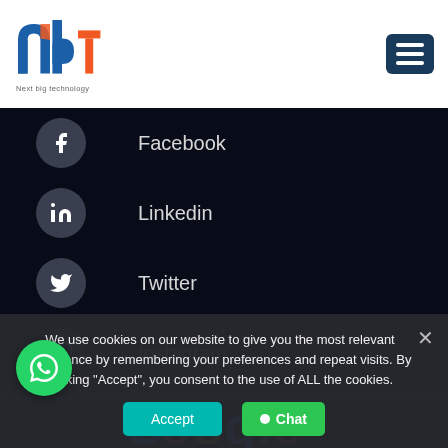NBT - Next Big Technology logo and navigation
Facebook
Linkedin
Twitter
Instagram
Pinterest
[Figure (logo): Google logo partially visible]
We use cookies on our website to give you the most relevant experience by remembering your preferences and repeat visits. By clicking "Accept", you consent to the use of ALL the cookies.